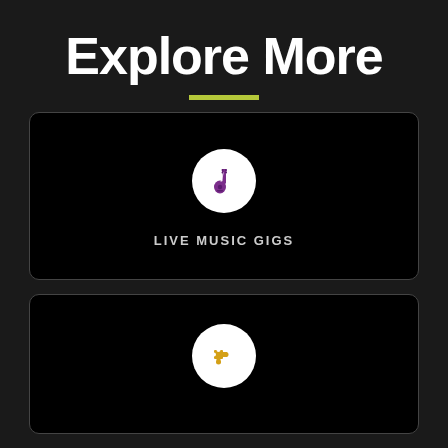Explore More
[Figure (infographic): Card with white circle containing a purple guitar icon and label LIVE MUSIC GIGS]
[Figure (infographic): Card with white circle containing a golden/yellow puzzle piece icon, partially visible]